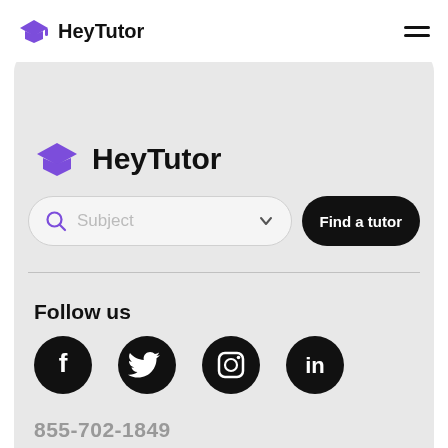HeyTutor
[Figure (logo): HeyTutor logo with purple graduation cap icon and bold text 'HeyTutor' inside a search/navigation card]
Subject
Find a tutor
Follow us
[Figure (infographic): Four social media icons: Facebook, Twitter, Instagram, LinkedIn — all black circles with white icons]
855-702-1849